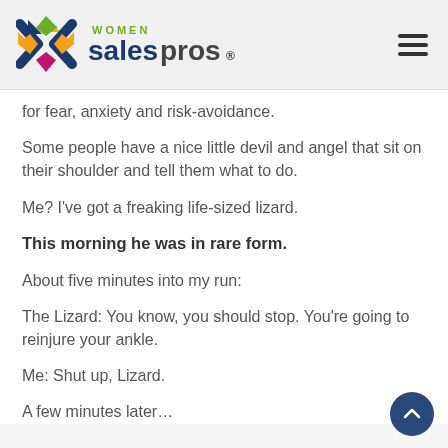[Figure (logo): Women Sales Pros logo with colorful diamond/X shape and text]
for fear, anxiety and risk-avoidance.
Some people have a nice little devil and angel that sit on their shoulder and tell them what to do.
Me? I've got a freaking life-sized lizard.
This morning he was in rare form.
About five minutes into my run:
The Lizard: You know, you should stop. You're going to reinjure your ankle.
Me: Shut up, Lizard.
A few minutes later…